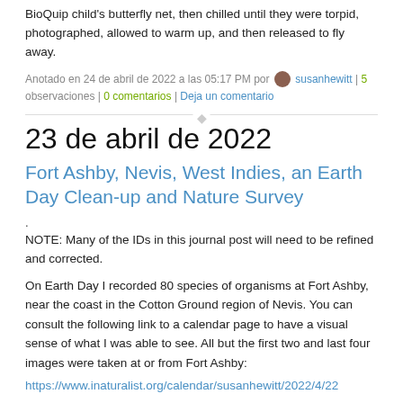BioQuip child's butterfly net, then chilled until they were torpid, photographed, allowed to warm up, and then released to fly away.
Anotado en 24 de abril de 2022 a las 05:17 PM por susanhewitt | 5 observaciones | 0 comentarios | Deja un comentario
23 de abril de 2022
Fort Ashby, Nevis, West Indies, an Earth Day Clean-up and Nature Survey
.
NOTE: Many of the IDs in this journal post will need to be refined and corrected.
On Earth Day I recorded 80 species of organisms at Fort Ashby, near the coast in the Cotton Ground region of Nevis. You can consult the following link to a calendar page to have a visual sense of what I was able to see. All but the first two and last four images were taken at or from Fort Ashby:
https://www.inaturalist.org/calendar/susanhewitt/2022/4/22